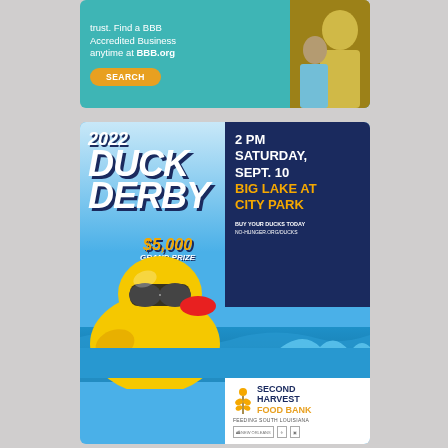[Figure (illustration): BBB (Better Business Bureau) advertisement with teal background. Text reads: 'trust. Find a BBB Accredited Business anytime at BBB.org' with a yellow SEARCH button and a photo of two people.]
[Figure (illustration): 2022 Duck Derby advertisement. Blue background with large white bold italic text '2022 DUCK DERBY $5,000 GRAND PRIZE'. Dark navy panel on right with '2 PM SATURDAY, SEPT. 10 BIG LAKE AT CITY PARK' and 'BUY YOUR DUCKS TODAY NO-HUNGER.ORG/DUCKS'. Yellow rubber duck illustration wearing sunglasses at bottom left. Second Harvest Food Bank logo in white box at bottom right.]